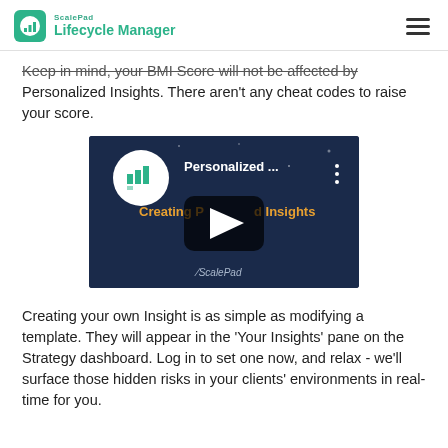ScalePad Lifecycle Manager
Keep in mind, your BMI Score will not be affected by Personalized Insights. There aren't any cheat codes to raise your score.
[Figure (screenshot): YouTube-style video thumbnail showing 'Personalized ...' title with ScalePad logo icon, 'Creating Personalized Insights' subtitle text, a play button in the center, and 'ScalePad' branding at the bottom. Dark blue background.]
Creating your own Insight is as simple as modifying a template. They will appear in the 'Your Insights' pane on the Strategy dashboard. Log in to set one now, and relax - we'll surface those hidden risks in your clients' environments in real-time for you.